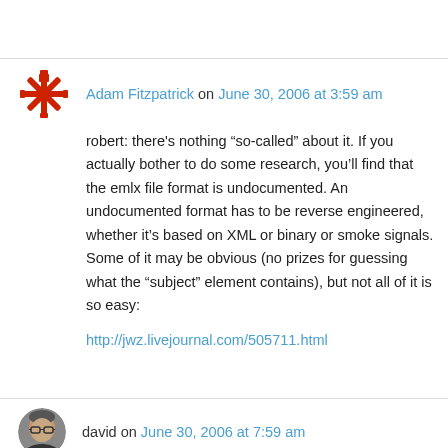Adam Fitzpatrick on June 30, 2006 at 3:59 am
robert: there’s nothing “so-called” about it. If you actually bother to do some research, you’ll find that the emlx file format is undocumented. An undocumented format has to be reverse engineered, whether it’s based on XML or binary or smoke signals. Some of it may be obvious (no prizes for guessing what the “subject” element contains), but not all of it is so easy:
http://jwz.livejournal.com/505711.html
david on June 30, 2006 at 7:59 am